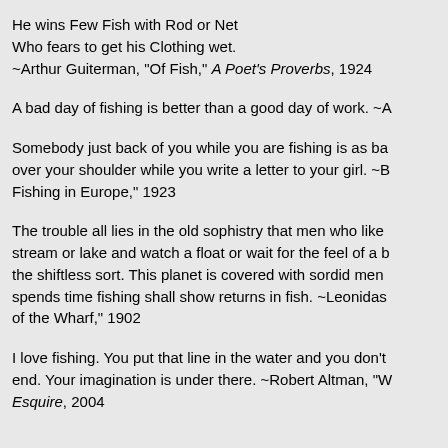He wins Few Fish with Rod or Net
Who fears to get his Clothing wet.
~Arthur Guiterman, "Of Fish," A Poet's Proverbs, 1924
A bad day of fishing is better than a good day of work. ~A
Somebody just back of you while you are fishing is as ba over your shoulder while you write a letter to your girl. ~B Fishing in Europe," 1923
The trouble all lies in the old sophistry that men who like stream or lake and watch a float or wait for the feel of a b the shiftless sort. This planet is covered with sordid men spends time fishing shall show returns in fish. ~Leonidas of the Wharf," 1902
I love fishing. You put that line in the water and you don't end. Your imagination is under there. ~Robert Altman, "W Esquire, 2004